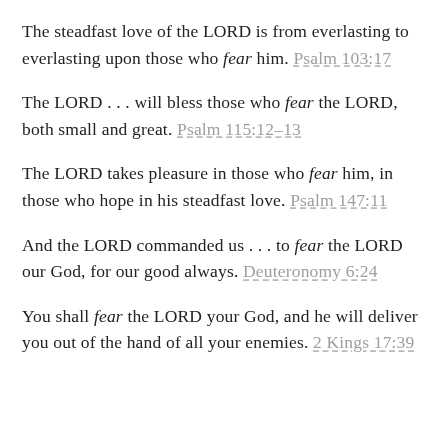The steadfast love of the LORD is from everlasting to everlasting upon those who fear him. Psalm 103:17
The LORD . . . will bless those who fear the LORD, both small and great. Psalm 115:12–13
The LORD takes pleasure in those who fear him, in those who hope in his steadfast love. Psalm 147:11
And the LORD commanded us . . . to fear the LORD our God, for our good always. Deuteronomy 6:24
You shall fear the LORD your God, and he will deliver you out of the hand of all your enemies. 2 Kings 17:39